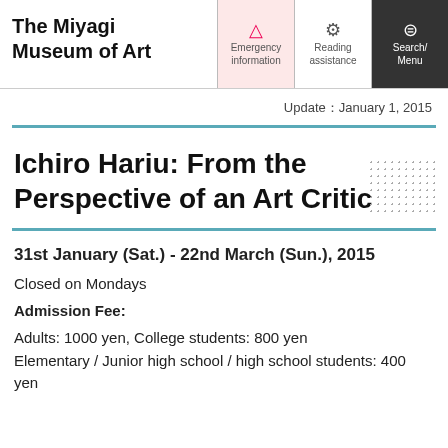The Miyagi Museum of Art
Update：January 1, 2015
Ichiro Hariu: From the Perspective of an Art Critic
31st January (Sat.) - 22nd March (Sun.), 2015
Closed on Mondays
Admission Fee:
Adults: 1000 yen, College students: 800 yen
Elementary / Junior high school / high school students: 400 yen